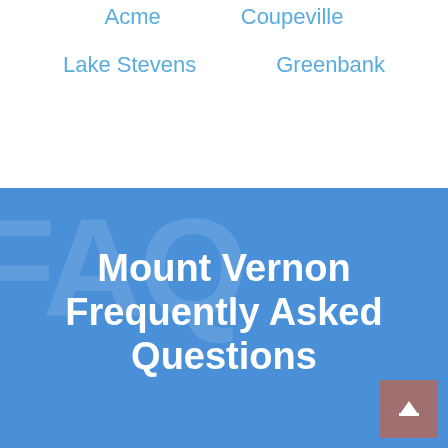Acme
Coupeville
Lake Stevens
Greenbank
Mount Vernon Frequently Asked Questions